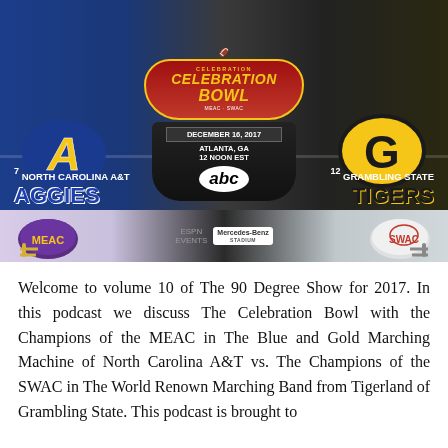[Figure (photo): Celebration Bowl promotional image featuring North Carolina A&T Aggies (#7) vs Grambling State Tigers (#12). Shows football players in uniform, AT and G team logos, Celebration Bowl banner, trophy, date December 16 2017 Atlanta GA 12 Noon EST, broadcast on ABC. MEAC and SWAC conference helmets shown at bottom. Mercedes-Benz Stadium logo visible.]
Welcome to volume 10 of The 90 Degree Show for 2017. In this podcast we discuss The Celebration Bowl with the Champions of the MEAC in The Blue and Gold Marching Machine of North Carolina A&T vs. The Champions of the SWAC in The World Renown Marching Band from Tigerland of Grambling State. This podcast is brought to